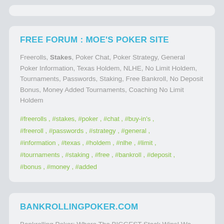FREE FORUM : MOE'S POKER SITE
Freerolls, Stakes, Poker Chat, Poker Strategy, General Poker Information, Texas Holdem, NLHE, No Limit Holdem, Tournaments, Passwords, Staking, Free Bankroll, No Deposit Bonus, Money Added Tournaments, Coaching No Limit Holdem
#freerolls , #stakes, #poker , #chat , #buy-in's , #freeroll , #passwords , #strategy , #general , #information , #texas , #holdem , #nlhe , #limit , #tournaments , #staking , #free , #bankroll , #deposit , #bonus , #money , #added
BANKROLLINGPOKER.COM
Bankrolling Poker: Where The BIGGEST Stack Wins! We offer live chat, freerolls, poker tips and strategies,